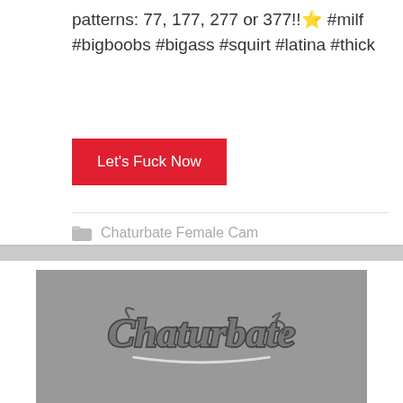patterns: 77, 177, 277 or 377!! ⭐ #milf #bigboobs #bigass #squirt #latina #thick
Let's Fuck Now
Chaturbate Female Cam
[Figure (logo): Chaturbate logo in grey cursive script on a grey background placeholder image]